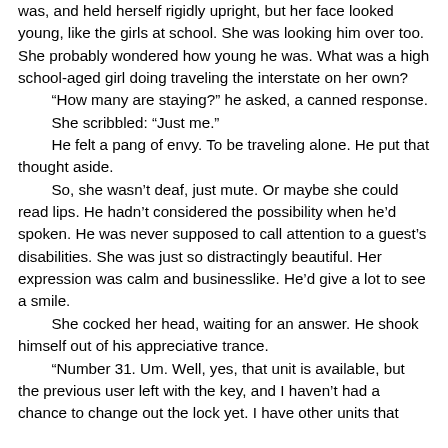was, and held herself rigidly upright, but her face looked young, like the girls at school. She was looking him over too. She probably wondered how young he was. What was a high school-aged girl doing traveling the interstate on her own?
“How many are staying?” he asked, a canned response.
She scribbled: “Just me.”
He felt a pang of envy. To be traveling alone. He put that thought aside.
So, she wasn’t deaf, just mute. Or maybe she could read lips. He hadn’t considered the possibility when he’d spoken. He was never supposed to call attention to a guest’s disabilities. She was just so distractingly beautiful. Her expression was calm and businesslike. He’d give a lot to see a smile.
She cocked her head, waiting for an answer. He shook himself out of his appreciative trance.
“Number 31. Um. Well, yes, that unit is available, but the previous user left with the key, and I haven’t had a chance to change out the lock yet. I have other units that